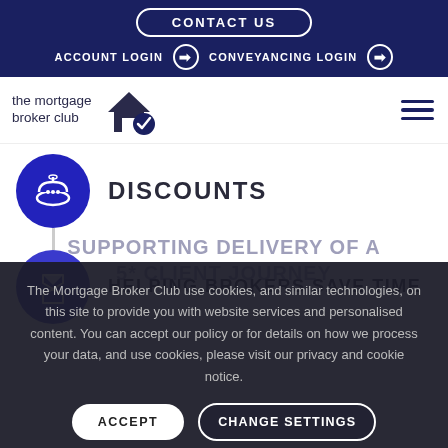CONTACT US | ACCOUNT LOGIN | CONVEYANCING LOGIN
[Figure (logo): The Mortgage Broker Club logo with house and checkmark icon]
DISCOUNTS
HELPING BROKERS SAVE TIME
SUPPORTING DELIVERY OF A 5* CLIENT JOURNEY
The Mortgage Broker Club use cookies, and similar technologies, on this site to provide you with website services and personalised content. You can accept our policy or for details on how we process your data, and use cookies, please visit our privacy and cookie notice.
ACCEPT | CHANGE SETTINGS